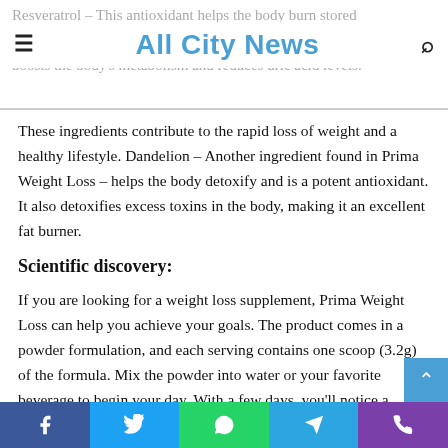Resveratrol – This antioxidant helps the body burn stored fat. It also boosts the body's metabolism and reduces uric acid levels.
All City News
These ingredients contribute to the rapid loss of weight and a healthy lifestyle. Dandelion – Another ingredient found in Prima Weight Loss – helps the body detoxify and is a potent antioxidant. It also detoxifies excess toxins in the body, making it an excellent fat burner.
Scientific discovery:
If you are looking for a weight loss supplement, Prima Weight Loss can help you achieve your goals. The product comes in a powder formulation, and each serving contains one scoop (3.2g) of the formula. Mix the powder into water or your favorite beverage to begin your day. With a few days, you'll notice a difference. You'll be surprised
Facebook | Twitter | WhatsApp | Telegram | Phone